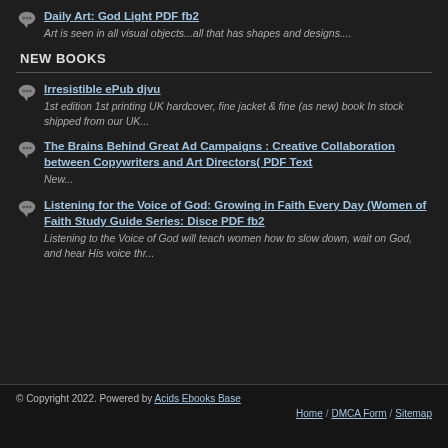Daily Art: God Light PDF fb2 — Art is seen in all visual objects...all that has shapes and designs....
NEW BOOKS
Irresistible ePub djvu — 1st edition 1st printing UK hardcover, fine jacket & fine (as new) book In stock shipped from our UK...
The Brains Behind Great Ad Campaigns : Creative Collaboration between Copywriters and Art Directors( PDF Text — New...
Listening for the Voice of God: Growing in Faith Every Day (Women of Faith Study Guide Series: Disce PDF fb2 — Listening to the Voice of God will teach women how to slow down, wait on God, and hear His voice thr...
© Copyright 2022. Powered by Acids Ebooks Base — Home / DMCA Form / Sitemap